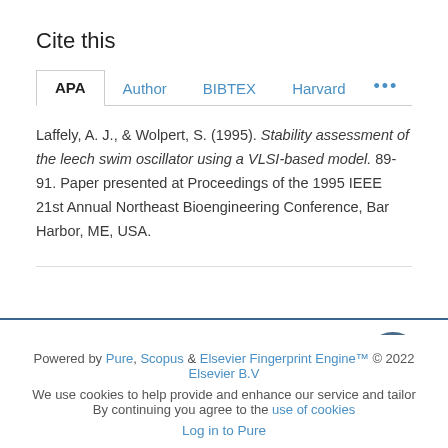Cite this
APA | Author | BIBTEX | Harvard | ...
Laffely, A. J., & Wolpert, S. (1995). Stability assessment of the leech swim oscillator using a VLSI-based model. 89-91. Paper presented at Proceedings of the 1995 IEEE 21st Annual Northeast Bioengineering Conference, Bar Harbor, ME, USA.
Powered by Pure, Scopus & Elsevier Fingerprint Engine™ © 2022 Elsevier B.V
We use cookies to help provide and enhance our service and tailor content. By continuing you agree to the use of cookies
Log in to Pure